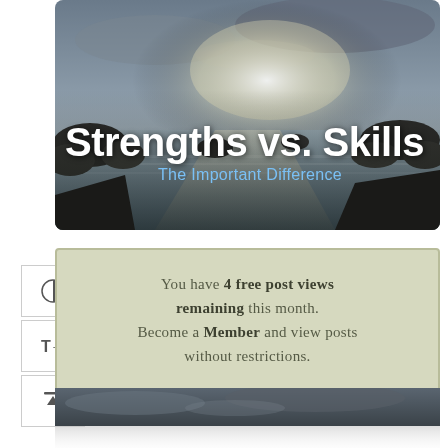[Figure (photo): Rocky coastal seascape with dramatic sky, waves and sunlight breaking through clouds. White bold text overlay reads 'Strengths vs. Skills' with subtitle 'The Important Difference' in blue.]
Strengths vs. Skills
The Important Difference
You have 4 free post views remaining this month. Become a Member and view posts without restrictions.
[Figure (photo): Partially visible rocky coastal scene at the bottom of the page, mirrored/reflected.]